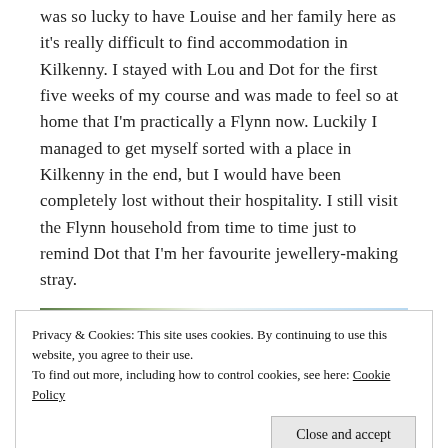was so lucky to have Louise and her family here as it's really difficult to find accommodation in Kilkenny. I stayed with Lou and Dot for the first five weeks of my course and was made to feel so at home that I'm practically a Flynn now. Luckily I managed to get myself sorted with a place in Kilkenny in the end, but I would have been completely lost without their hospitality. I still visit the Flynn household from time to time just to remind Dot that I'm her favourite jewellery-making stray.
[Figure (photo): Partial view of a photo strip at top of image area showing greenery and light blue sky]
Privacy & Cookies: This site uses cookies. By continuing to use this website, you agree to their use.
To find out more, including how to control cookies, see here: Cookie Policy
Close and accept
[Figure (photo): Dark green foliage photo at bottom of page]